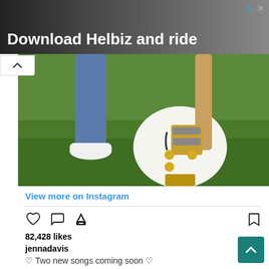[Figure (screenshot): Advertisement banner: 'Download Helbiz and ride' with close and info icons on dark background showing scooter rider]
[Figure (photo): Instagram photo showing legs in jeans with white sneakers standing next to a white and gold Gretsch hollow-body guitar on green grass]
View more on Instagram
82,428 likes
jennadavis
♡ Two new songs coming soon ♡
#singersongwriter #newmusic #fun